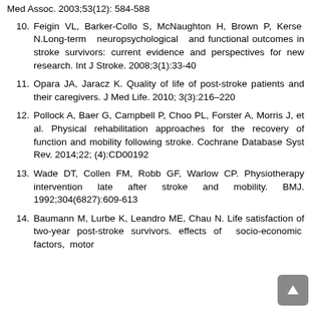Med Assoc. 2003;53(12): 584-588
10. Feigin VL, Barker-Collo S, McNaughton H, Brown P, Kerse N.Long-term neuropsychological and functional outcomes in stroke survivors: current evidence and perspectives for new research. Int J Stroke. 2008;3(1):33-40
11. Opara JA, Jaracz K. Quality of life of post-stroke patients and their caregivers. J Med Life. 2010; 3(3):216-220
12. Pollock A, Baer G, Campbell P, Choo PL, Forster A, Morris J, et al. Physical rehabilitation approaches for the recovery of function and mobility following stroke. Cochrane Database Syst Rev. 2014;22;(4):CD00192
13. Wade DT, Collen FM, Robb GF, Warlow CP. Physiotherapy intervention late after stroke and mobility. BMJ. 1992;304(6827):609-613
14. Baumann M, Lurbe K, Leandro ME, Chau N. Life satisfaction of two-year post-stroke survivors. effects of socio-economic factors, motor